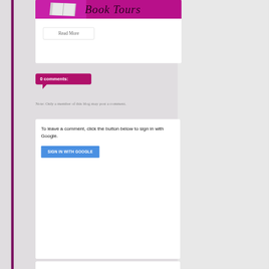[Figure (screenshot): Blog banner image with purple/magenta background showing book icon and 'Book Tours' text partially visible]
Read More
0 comments:
Note: Only a member of this blog may post a comment.
To leave a comment, click the button below to sign in with Google.
SIGN IN WITH GOOGLE